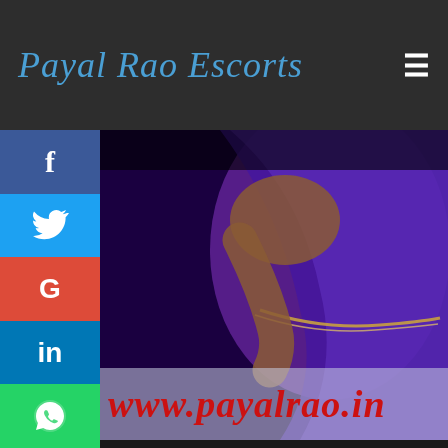Payal Rao Escorts
[Figure (photo): Photo of a woman in a purple saree with website URL overlay 'www.payalrao.in']
ET OUR VERY YOUNG AND HIGHLY NSATIONALIST TRIPOLIA BAZAR ESCORTS
hout our sexy and hot Tripolia Bazar Escorts girl, r trip can not be complete. If you want to collect e beautiful memory and funloving time. Then our agency's girls are waiting for you, every man wants to spend some lovemaking and gorgeous time. Here you